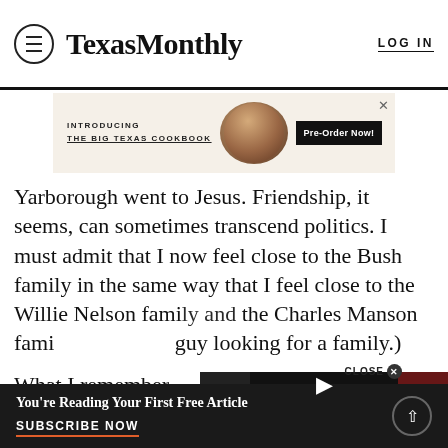TexasMonthly  LOG IN
[Figure (screenshot): Advertisement banner: INTRODUCING THE BIG TEXAS COOKBOOK with food photo and Pre-Order Now! button]
Yarborough went to Jesus. Friendship, it seems, can sometimes transcend politics. I must admit that I now feel close to the Bush family in the same way that I feel close to the Willie Nelson family and the Charles Manson family. (I'm just a guy looking for a family.)
What I remember most vividly is smoking cigars with the p...
[Figure (screenshot): Video player overlay showing 'The video cannot be played in this browser.' with title 'The Mother-Son Team Behind Houston's Most...' and MORE button, with CLOSE X button]
You're Reading Your First Free Article  SUBSCRIBE NOW